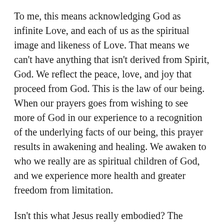To me, this means acknowledging God as infinite Love, and each of us as the spiritual image and likeness of Love. That means we can't have anything that isn't derived from Spirit, God. We reflect the peace, love, and joy that proceed from God. This is the law of our being. When our prayers goes from wishing to see more of God in our experience to a recognition of the underlying facts of our being, this prayer results in awakening and healing. We awaken to who we really are as spiritual children of God, and we experience more health and greater freedom from limitation.
Isn't this what Jesus really embodied? The liberation of humanity from sickness, lack, inequality — a false bondage that didn't have any authority from the Father? Didn't he embody the reality of divine Love so that everyone who